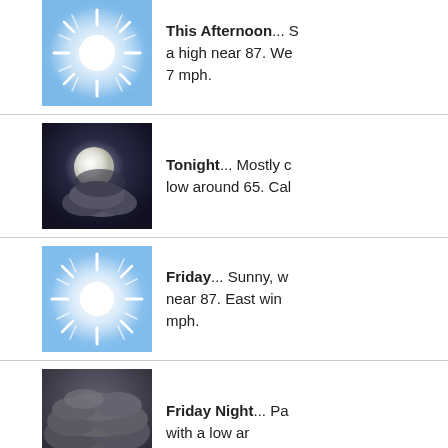[Figure (illustration): Sunny sky weather icon with bright sun and blue sky]
This Afternoon... S a high near 87. We 7 mph.
[Figure (illustration): Mostly cloudy night weather icon with moon behind clouds]
Tonight... Mostly c low around 65. Cal
[Figure (illustration): Sunny weather icon with bright sun and blue sky]
Friday... Sunny, w near 87. East win mph.
[Figure (illustration): Partly cloudy night weather icon with dark clouds]
Friday Night... Pa with a low ar